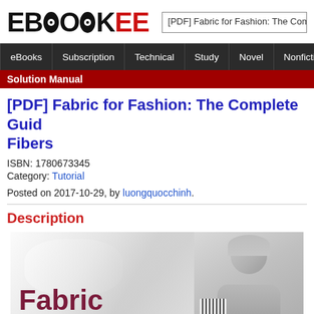EBOOKEE
[PDF] Fabric for Fashion: The Com
eBooks | Subscription | Technical | Study | Novel | Nonfiction | Me
Solution Manual
[PDF] Fabric for Fashion: The Complete Guide Fibers
ISBN: 1780673345
Category: Tutorial
Posted on 2017-10-29, by luongquocchinh.
Description
[Figure (photo): Book cover showing 'Fabric for' text in dark red/maroon bold font on white fabric background, alongside a photo of a person with curly hair and fabric/textile]